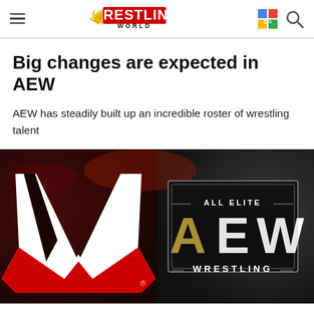Wrestling World
Big changes are expected in AEW
AEW has steadily built up an incredible roster of wrestling talent
[Figure (photo): Split image showing the WWE logo (white W on dark background with red accent) on the left and the All Elite Wrestling (AEW) logo on the right against a dark background]